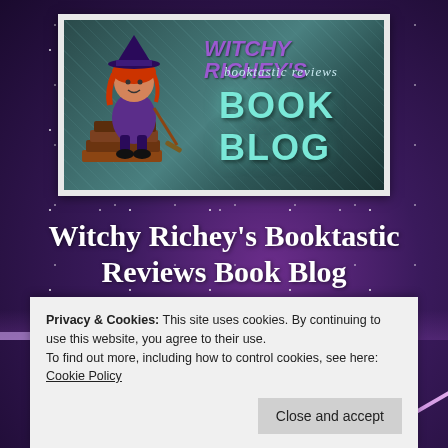[Figure (logo): Witchy Richey's Booktastic Reviews Book Blog banner with a cartoon witch figure sitting on books, dark teal veined background, purple stylized text 'WITCHY RICHEY'S', italic script 'booktastic reviews', and large teal bold text 'BOOK BLOG']
Witchy Richey's Booktastic Reviews Book Blog
It's a mystical world of romance and love.
Privacy & Cookies:  This site uses cookies. By continuing to use this website, you agree to their use.
To find out more, including how to control cookies, see here: Cookie Policy
Close and accept